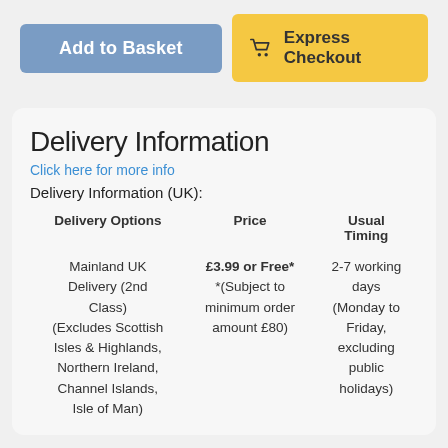[Figure (screenshot): Two buttons: 'Add to Basket' (blue) and 'Express Checkout' (yellow with cart icon)]
Delivery Information
Click here for more info
Delivery Information (UK):
| Delivery Options | Price | Usual Timing |
| --- | --- | --- |
| Mainland UK Delivery (2nd Class)
(Excludes Scottish Isles & Highlands, Northern Ireland, Channel Islands, Isle of Man) | £3.99 or Free*
*(Subject to minimum order amount £80) | 2-7 working days
(Monday to Friday, excluding public holidays) |